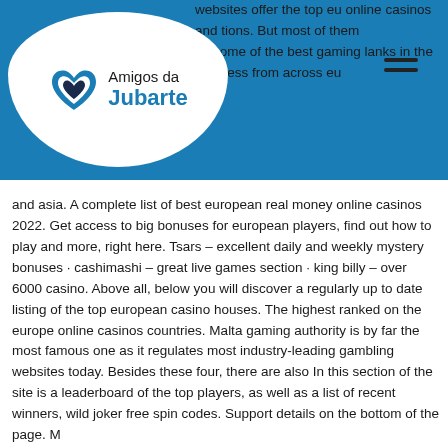[Figure (logo): Amigos da Jubarte logo with heart icon on white splash background over blue header bar]
websites offer the top eu online casinos and tions. But most of them by some of the best gaming lanks in the business from across europe and asia. A complete list of best european real money online casinos 2022. Get access to big bonuses for european players, find out how to play and more, right here. Tsars – excellent daily and weekly mystery bonuses · cashimashi – great live games section · king billy – over 6000 casino. Above all, below you will discover a regularly up to date listing of the top european casino houses. The highest ranked on the europe online casinos countries. Malta gaming authority is by far the most famous one as it regulates most industry-leading gambling websites today. Besides these four, there are also In this section of the site is a leaderboard of the top players, as well as a list of recent winners, wild joker free spin codes. Support details on the bottom of the page. M...